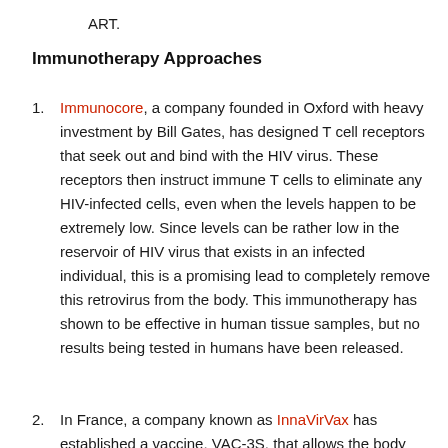ART.
Immunotherapy Approaches
Immunocore, a company founded in Oxford with heavy investment by Bill Gates, has designed T cell receptors that seek out and bind with the HIV virus. These receptors then instruct immune T cells to eliminate any HIV-infected cells, even when the levels happen to be extremely low. Since levels can be rather low in the reservoir of HIV virus that exists in an infected individual, this is a promising lead to completely remove this retrovirus from the body. This immunotherapy has shown to be effective in human tissue samples, but no results being tested in humans have been released.
In France, a company known as InnaVirVax has established a vaccine, VAC-3S, that allows the body